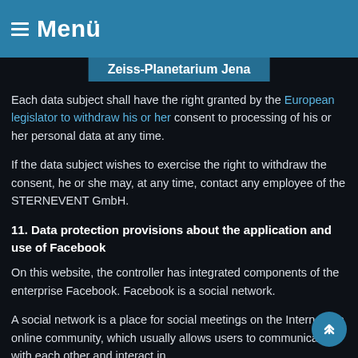≡ Menü
Zeiss-Planetarium Jena
Each data subject shall have the right granted by the European legislator to withdraw his or her consent to processing of his or her personal data at any time.
If the data subject wishes to exercise the right to withdraw the consent, he or she may, at any time, contact any employee of the STERNEVENT GmbH.
11. Data protection provisions about the application and use of Facebook
On this website, the controller has integrated components of the enterprise Facebook. Facebook is a social network.
A social network is a place for social meetings on the Internet, an online community, which usually allows users to communicate with each other and interact in